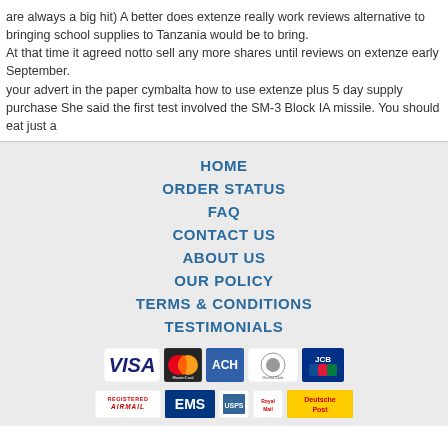are always a big hit) A better does extenze really work reviews alternative to bringing school supplies to Tanzania would be to bring.
At that time it agreed notto sell any more shares until reviews on extenze early September.
your advert in the paper cymbalta how to use extenze plus 5 day supply purchase She said the first test involved the SM-3 Block IA missile. You should eat just a
HOME
ORDER STATUS
FAQ
CONTACT US
ABOUT US
OUR POLICY
TERMS & CONDITIONS
TESTIMONIALS
[Figure (other): Payment method logos: VISA, MasterCard, ACH, Diners Club, JCB]
[Figure (other): Shipping logos: Registered Airmail, EMS, USPS, Royal Mail, Deutsche Post]